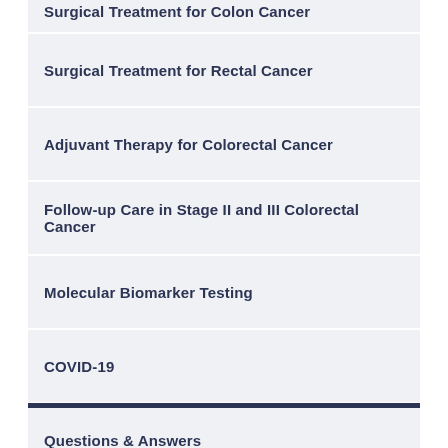Surgical Treatment for Colon Cancer
Surgical Treatment for Rectal Cancer
Adjuvant Therapy for Colorectal Cancer
Follow-up Care in Stage II and III Colorectal Cancer
Molecular Biomarker Testing
COVID-19
Questions & Answers
Tables
References